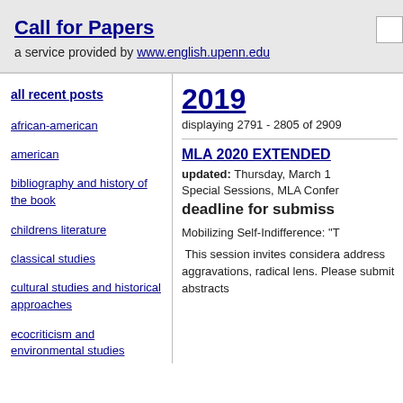Call for Papers
a service provided by www.english.upenn.edu
all recent posts
african-american
american
bibliography and history of the book
childrens literature
classical studies
cultural studies and historical approaches
ecocriticism and environmental studies
eighteenth century
2019
displaying 2791 - 2805 of 2909
MLA 2020 EXTENDED
updated: Thursday, March 1
Special Sessions, MLA Confer
deadline for submiss
Mobilizing Self-Indifference: "T
This session invites considera address aggravations, radical lens. Please submit abstracts